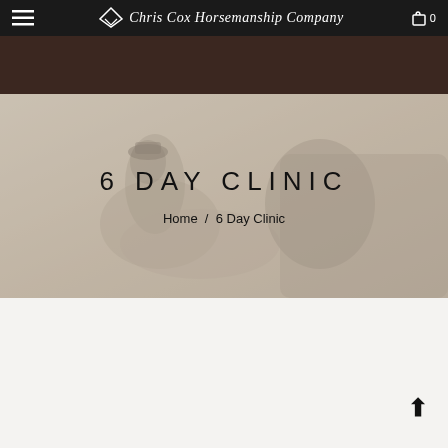Chris Cox Horsemanship Company — Navigation bar with hamburger menu and cart icon
[Figure (photo): Hero section showing a person on horseback with a muted warm-toned outdoor background image. Centered overlay text reads 6 DAY CLINIC with breadcrumb navigation Home / 6 Day Clinic.]
6 DAY CLINIC
Home  /  6 Day Clinic